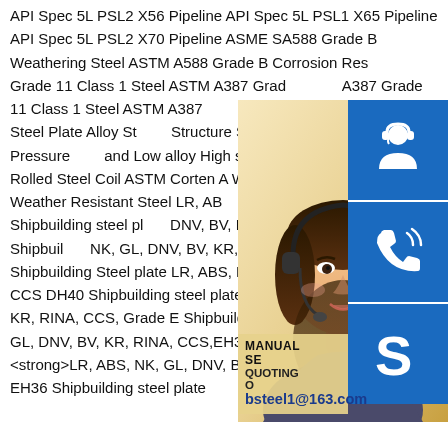API Spec 5L PSL2 X56 Pipeline API Spec 5L PSL1 X65 Pipeline API Spec 5L PSL2 X70 Pipeline ASME SA588 Grade B Weathering Steel ASTM A588 Grade B Corrosion Resistant Steel ASTM A387 Grade 11 Class 1 Steel ASTM A387 Grade 11 Class 1 Steel ASTM A387 Grade 11 Class 1 Steel ASTM A387 ASTM A516 Grade 70 Steel Plate Alloy Structure Steel Plate Boiler and Pressure and Low alloy High strength Steel Plate Rolled Steel Coil ASTM Corten A Weather Corten B Weather Resistant Steel LR, ABS RINA, CCS, Grade D Shipbuilding steel pl DNV, BV, KR, RINA, CCS, DH32 Shipbuilding NK, GL, DNV, BV, KR, RINA, CCS,DH36 Shipbuilding Steel plate LR, ABS, NK, GL, DNV, BV, KR, RINA, CCS DH40 Shipbuilding steel plate LR, ABS, NK, GL, DNV, BV, KR, RINA, CCS, Grade E Shipbuilding steel plate LR, ABS, NK, GL, DNV, BV, KR, RINA, CCS,EH32 Shipbuilding steel plate <strong>LR, ABS, NK, GL, DNV, BV, KR, RINA, CCS</strong> EH36 Shipbuilding steel plate
[Figure (photo): Photo of a woman with headset (customer service representative) with blue background, overlaid with three blue icon boxes: headset/customer service icon, phone call icon, and Skype icon. A contact overlay shows 'MANUAL SERVICE', 'QUOTING O...', and email 'bsteel1@163.com'.]